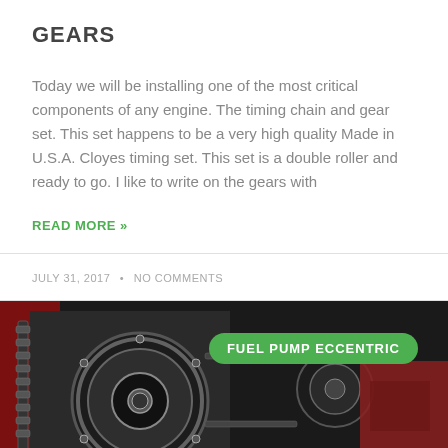GEARS
Today we will be installing one of the most critical components of any engine. The timing chain and gear set. This set happens to be a very high quality Made in U.S.A. Cloyes timing set. This set is a double roller and ready to go. I like to write on the gears with
READ MORE »
JULY 31, 2017  •  NO COMMENTS
[Figure (photo): Close-up photo of engine timing chain and gears with a green oval label overlay reading 'FUEL PUMP ECCENTRIC']